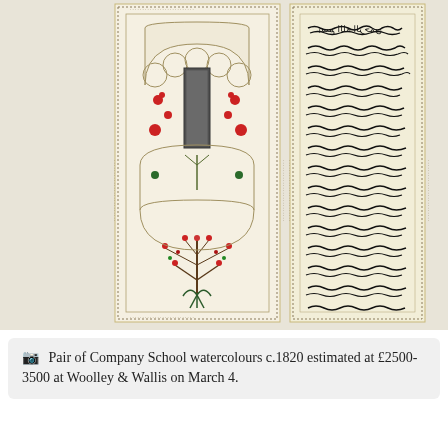[Figure (illustration): Two vertical panels of Company School watercolours c.1820. Left panel: cream/ivory background with intricate arch (mihrab) design, floral decorations in red, green and blue, with a central rectangular dark panel, bordered by dotted frames. Right panel: cream background with dense Arabic/Urdu calligraphy in black ink arranged in horizontal lines, bordered by dotted frames.]
Pair of Company School watercolours c.1820 estimated at £2500-3500 at Woolley & Wallis on March 4.